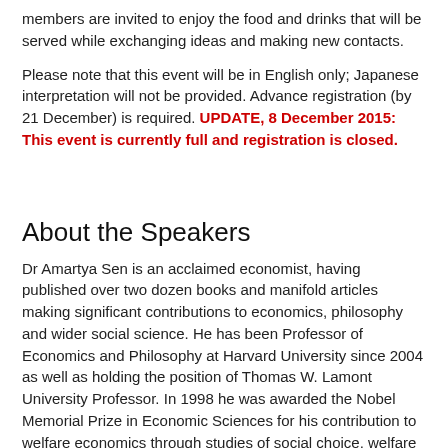members are invited to enjoy the food and drinks that will be served while exchanging ideas and making new contacts.
Please note that this event will be in English only; Japanese interpretation will not be provided. Advance registration (by 21 December) is required. UPDATE, 8 December 2015: This event is currently full and registration is closed.
About the Speakers
Dr Amartya Sen is an acclaimed economist, having published over two dozen books and manifold articles making significant contributions to economics, philosophy and wider social science. He has been Professor of Economics and Philosophy at Harvard University since 2004 as well as holding the position of Thomas W. Lamont University Professor. In 1998 he was awarded the Nobel Memorial Prize in Economic Sciences for his contribution to welfare economics through studies of social choice, welfare measurement, and poverty.
Until 2004 Dr Sen was Master of Trinity College, Cambridge, the first